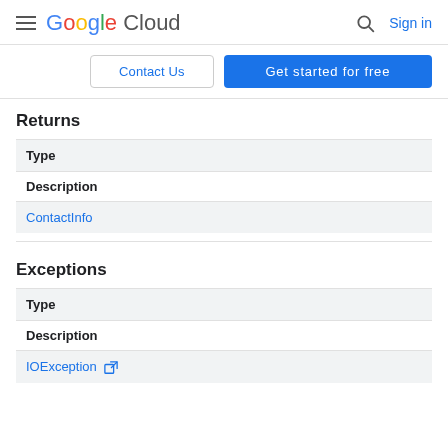Google Cloud — Sign in
Contact Us | Get started for free
Returns
| Type | Description |
| --- | --- |
| ContactInfo |  |
Exceptions
| Type | Description |
| --- | --- |
| IOException ↗ |  |